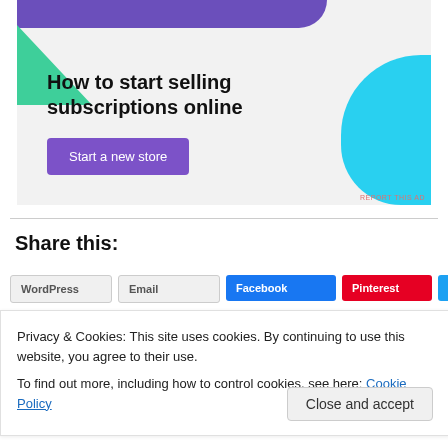[Figure (illustration): WooCommerce advertisement banner with purple top bar, green triangle shape, cyan curved shape on the right. Text reads 'How to start selling subscriptions online' with a purple 'Start a new store' button.]
REPORT THIS AD
Share this:
Privacy & Cookies: This site uses cookies. By continuing to use this website, you agree to their use.
To find out more, including how to control cookies, see here: Cookie Policy
Close and accept